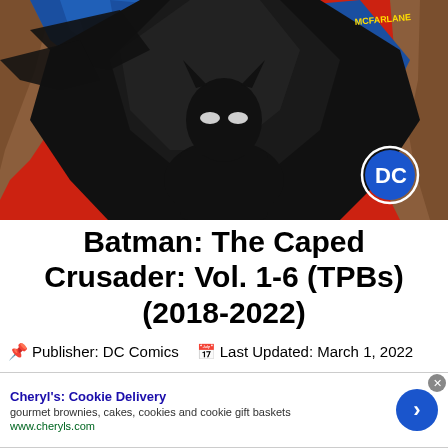[Figure (illustration): Comic book cover art showing Batman in a dramatic pose with a large black cape spread wide, against a red and blue background with rocky terrain. The DC Comics logo is visible in the lower right, and McFarlane artist signature in upper right area.]
Batman: The Caped Crusader: Vol. 1-6 (TPBs) (2018-2022)
Publisher: DC Comics   Last Updated: March 1, 2022
[Figure (screenshot): Advertisement for Cheryl's: Cookie Delivery. Text: gourmet brownies, cakes, cookies and cookie gift baskets. www.cheryls.com. Blue circular arrow button on the right.]